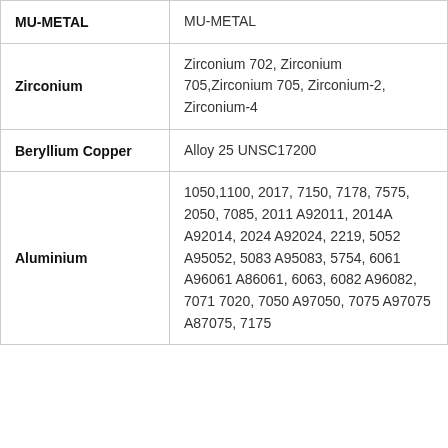| Material | Grades/Alloys |
| --- | --- |
| MU-METAL | MU-METAL |
| Zirconium | Zirconium 702, Zirconium 705,Zirconium 705, Zirconium-2, Zirconium-4 |
| Beryllium Copper | Alloy 25 UNSC17200 |
| Aluminium | 1050,1100, 2017, 7150, 7178, 7575, 2050, 7085, 2011 A92011, 2014A A92014, 2024 A92024, 2219, 5052 A95052, 5083 A95083, 5754, 6061 A96061 A86061, 6063, 6082 A96082, 7071 7020, 7050 A97050, 7075 A97075 A87075, 7175 |